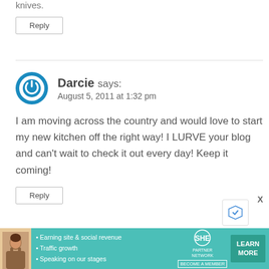knives.
Reply
Darcie says:
August 5, 2011 at 1:32 pm
I am moving across the country and would love to start my new kitchen off the right way! I LURVE your blog and can't wait to check it out every day! Keep it coming!
Reply
[Figure (infographic): SHE Partner Network advertisement banner with photo of woman, bullet points about earning site & social revenue, traffic growth, speaking on stages, SHE MEDIA logo, and LEARN MORE button]